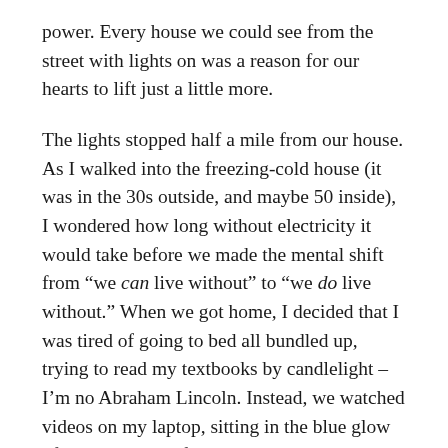power. Every house we could see from the street with lights on was a reason for our hearts to lift just a little more.
The lights stopped half a mile from our house. As I walked into the freezing-cold house (it was in the 30s outside, and maybe 50 inside), I wondered how long without electricity it would take before we made the mental shift from “we can live without” to “we do live without.” When we got home, I decided that I was tired of going to bed all bundled up, trying to read my textbooks by candlelight – I’m no Abraham Lincoln. Instead, we watched videos on my laptop, sitting in the blue glow of its tiny screen, feeling desperately normal.